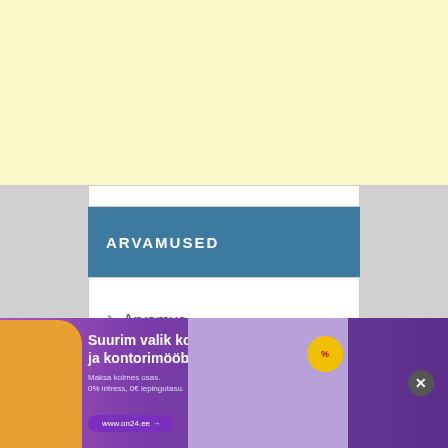[Figure (other): Yellow advertisement banner at top of page]
ARVAMUSED
Arvamus
VÄRSKED TEEMAD
Kremli siseinfo: Putinil pole jäänud enam
[Figure (other): Advertisement banner at bottom: Suurim valik kooli- ja kontorimööblit. Maksa kolmes osas. 0% intress, 0€ lepingutasu. www.on24.ee]